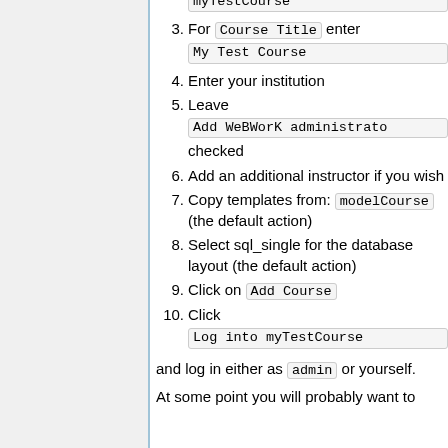3. For Course Title enter My Test Course
4. Enter your institution
5. Leave Add WeBWorK administrator checked
6. Add an additional instructor if you wish
7. Copy templates from: modelCourse (the default action)
8. Select sql_single for the database layout (the default action)
9. Click on Add Course
10. Click Log into myTestCourse
and log in either as admin or yourself.
At some point you will probably want to